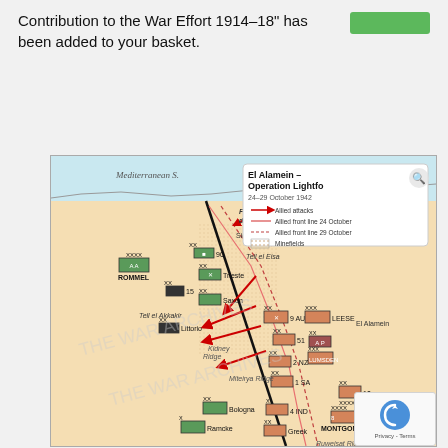Contribution to the War Effort 1914–18" has been added to your basket.
[Figure (map): Military map titled 'El Alamein – Operation Lightfoot, 24–29 October 1942'. Shows North African coastal area including the Mediterranean Sea, positions of Allied and Axis forces including ROMMEL, MONTGOMERY, LEESE, units such as 9 AUS, 2 NZ, 1 SA, 10 XXXX, Greek, Bologna, Ramcke, Littorio, Trieste, Saxon divisions, locations such as Sidi Abd Rahman, Tell el Eisa, Tell el Akkakir, Kidney Ridge, Miteirya Ridge, El Alamein. Map legend shows Allied attacks (red arrows), Allied front line 24 October, Allied front line 29 October, and Minefields. Fake landings noted to distract coastal defence.]